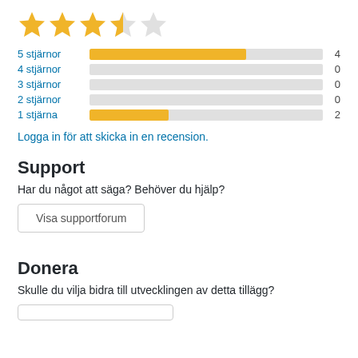[Figure (other): Star rating: 3.5 out of 5 stars (3 filled gold, 1 half gold, 1 empty)]
[Figure (bar-chart): Rating distribution]
Logga in för att skicka in en recension.
Support
Har du något att säga? Behöver du hjälp?
Visa supportforum
Donera
Skulle du vilja bidra till utvecklingen av detta tillägg?